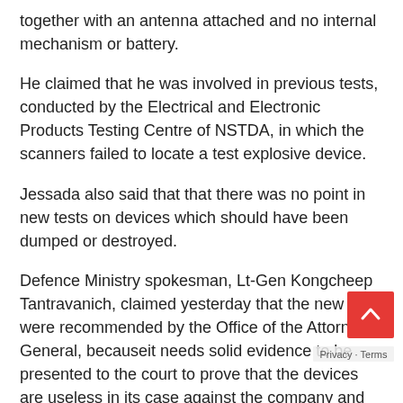together with an antenna attached and no internal mechanism or battery.
He claimed that he was involved in previous tests, conducted by the Electrical and Electronic Products Testing Centre of NSTDA, in which the scanners failed to locate a test explosive device.
Jessada also said that that there was no point in new tests on devices which should have been dumped or destroyed.
Defence Ministry spokesman, Lt-Gen Kongcheep Tantravanich, claimed yesterday that the new tests were recommended by the Office of the Attorney-General, becauseit needs solid evidence to be presented to the court to prove that the devices are useless in its case against the company and its executives for the sale of the devices to the army.
The army bought 757 GT200 bomb scanners at a total c 683 million baht.